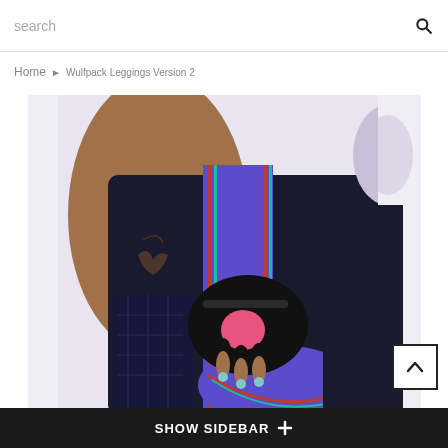search
Home ▶ Wulfpack Leggings Version 2
[Figure (photo): A person wearing dark navy/black athletic leggings with a purple and multicolor stripe pattern down the side, also wearing black fingerless workout gloves with pink palm pads. The person's tattooed arm is resting on their hip.]
SHOW SIDEBAR +